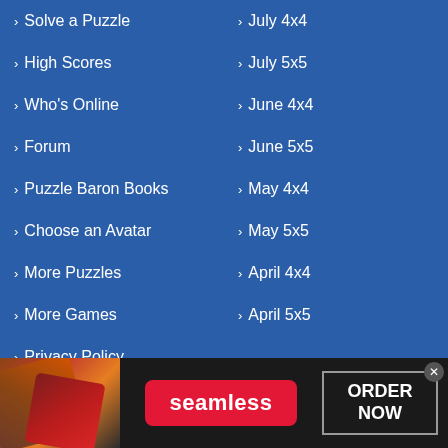› Solve a Puzzle
› High Scores
› Who's Online
› Forum
› Puzzle Baron Books
› Choose an Avatar
› More Puzzles
› More Games
› Privacy Policy
› July 4x4
› July 5x5
› June 4x4
› June 5x5
› May 4x4
› May 5x5
› April 4x4
› April 5x5
[Figure (infographic): Seamless food delivery advertisement banner with pizza image on the left, red Seamless logo button in the center, and ORDER NOW button on the right with an X close button.]